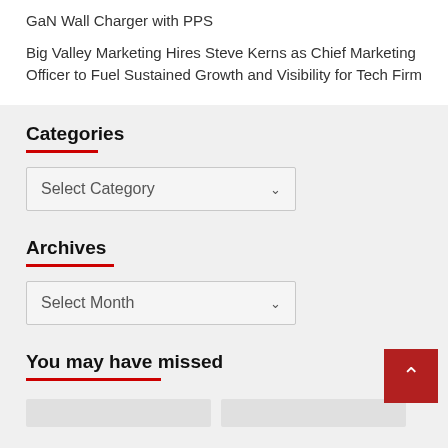GaN Wall Charger with PPS
Big Valley Marketing Hires Steve Kerns as Chief Marketing Officer to Fuel Sustained Growth and Visibility for Tech Firm
Categories
Select Category
Archives
Select Month
You may have missed